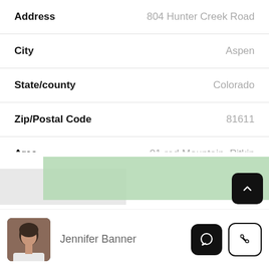| Field | Value |
| --- | --- |
| Address | 804 Hunter Creek Road |
| City | Aspen |
| State/county | Colorado |
| Zip/Postal Code | 81611 |
| Area | 01-red Mountain, Pitkin County |
[Figure (map): Partial map view with green and gray regions]
Jennifer Banner